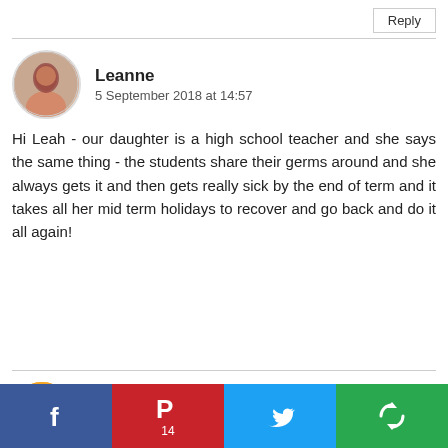Reply
Leanne
5 September 2018 at 14:57
Hi Leah - our daughter is a high school teacher and she says the same thing - the students share their germs around and she always gets it and then gets really sick by the end of term and it takes all her mid term holidays to recover and go back and do it all again!
Unknown
5 September 2018 at 03:30
I showed the Hubs your headline and he literally rolled
[Figure (infographic): Social sharing bar with Facebook, Pinterest (14), Twitter, and another share button icons at the bottom of the page]